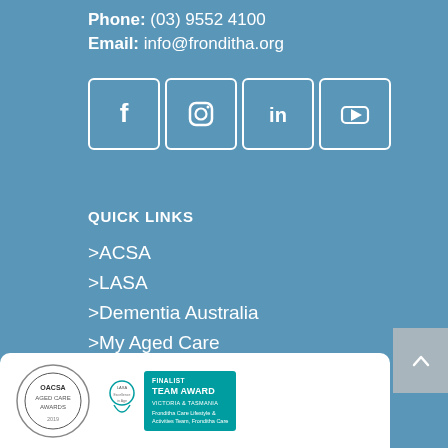Phone: (03) 9552 4100
Email: info@fronditha.org
[Figure (infographic): Four social media icon boxes: Facebook (f), Instagram (camera), LinkedIn (in), YouTube (play button), each in a white-bordered rounded square on a blue background]
QUICK LINKS
>ACSA
>LASA
>Dementia Australia
>My Aged Care
> ECCV
[Figure (logo): White card at bottom showing ACSA Aged Care Awards circular badge on left, and LASA Finalist Team Award Victoria & Tasmania badge for Fronditha Care Lifestyle & Activities Team, Fronditha Care on right]
[Figure (other): Grey scroll-to-top button on right side with upward arrow]